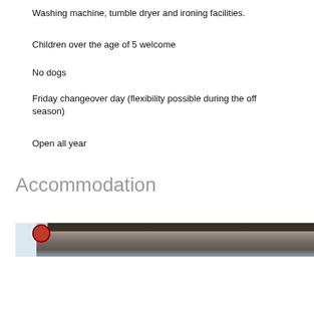Washing machine, tumble dryer and ironing facilities.
Children over the age of 5 welcome
No dogs
Friday changeover day (flexibility possible during the off season)
Open all year
Accommodation
[Figure (photo): Partial view of a building exterior, showing a dark wooden or tiled roof/wall structure with a light blue strip on the left side and a small circular red logo/sign visible near the left edge.]